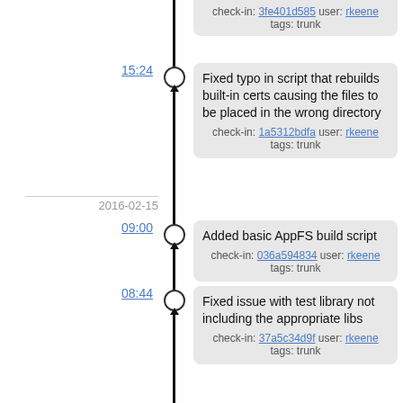check-in: 3fe401d585 user: rkeene tags: trunk
15:24 - Fixed typo in script that rebuilds built-in certs causing the files to be placed in the wrong directory
check-in: 1a5312bdfa user: rkeene tags: trunk
2016-02-15
09:00 - Added basic AppFS build script
check-in: 036a594834 user: rkeene tags: trunk
08:44 - Fixed issue with test library not including the appropriate libs
check-in: 37a5c34d9f user: rkeene tags: trunk
08:36 - Updated to create better Debian package (untested)
check-in: 3b8c1a6846 user: rkeene tags: trunk
08:31 - Updated to print an error in debug mode if we run across compressed certificates without zlib support available
check-in: ecd7178afb user: rkeene tags: trunk